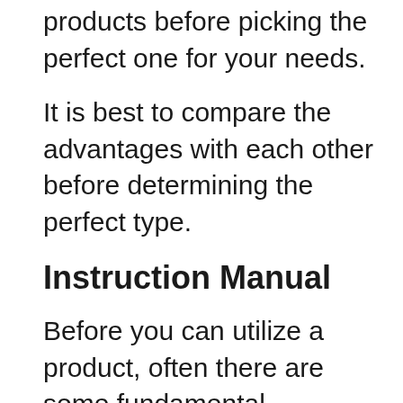products before picking the perfect one for your needs.
It is best to compare the advantages with each other before determining the perfect type.
Instruction Manual
Before you can utilize a product, often there are some fundamental guidelines that must be followed to get the most out of it. While some people may be able to just figure it out on their own, others may need an instruction manual